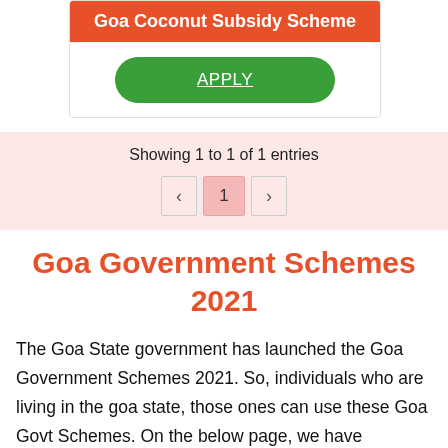Goa Coconut Subsidy Scheme
APPLY
Showing 1 to 1 of 1 entries
Goa Government Schemes 2021
The Goa State government has launched the Goa Government Schemes 2021. So, individuals who are living in the goa state, those ones can use these Goa Govt Schemes. On the below page, we have uploaded the Latest Goa State Government